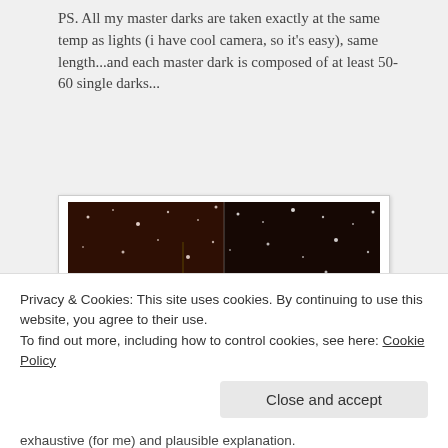PS. All my master darks are taken exactly at the same temp as lights (i have cool camera, so it's easy), same length...and each master dark is composed of at least 50-60 single darks...
[Figure (photo): Side-by-side astrophotography comparison: left panel labeled 'dark applied' showing star field with yellow circles highlighting artifacts, right panel labeled 'BPM applied' showing same star field with artifacts removed. Dark background with white stars visible in both panels.]
Privacy & Cookies: This site uses cookies. By continuing to use this website, you agree to their use.
To find out more, including how to control cookies, see here: Cookie Policy
exhaustive (for me) and plausible explanation.